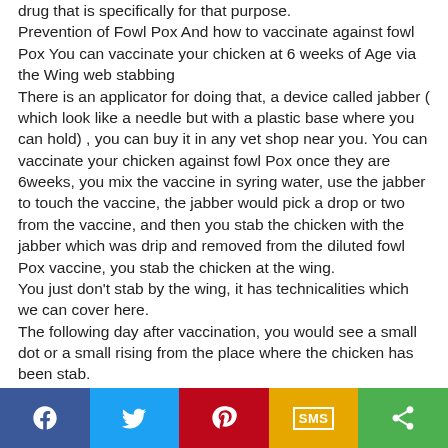drug that is specifically for that purpose.
Prevention of Fowl Pox And how to vaccinate against fowl Pox You can vaccinate your chicken at 6 weeks of Age via the Wing web stabbing
There is an applicator for doing that, a device called jabber ( which look like a needle but with a plastic base where you can hold) , you can buy it in any vet shop near you. You can vaccinate your chicken against fowl Pox once they are 6weeks, you mix the vaccine in syring water, use the jabber to touch the vaccine, the jabber would pick a drop or two from the vaccine, and then you stab the chicken with the jabber which was drip and removed from the diluted fowl Pox vaccine, you stab the chicken at the wing.
You just don't stab by the wing, it has technicalities which we can cover here.
The following day after vaccination, you would see a small dot or a small rising from the place where the chicken has been stab.
[Figure (other): Social sharing bar with Facebook, Twitter, Pinterest, SMS, and Share buttons]